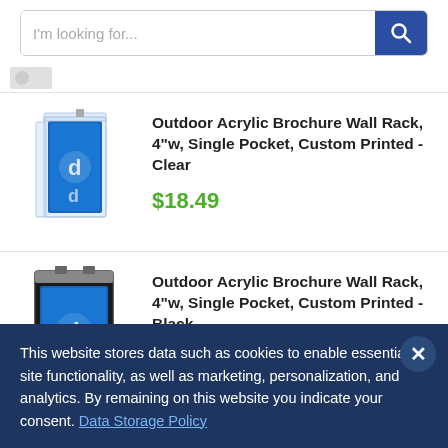[Figure (screenshot): Search bar with placeholder text 'I'm looking for...' and blue search button with magnifying glass icon]
[Figure (photo): Partial cropped product image at top of page]
[Figure (photo): Outdoor Acrylic Brochure Wall Rack clear variant product image]
Outdoor Acrylic Brochure Wall Rack, 4"w, Single Pocket, Custom Printed - Clear
$18.49
[Figure (photo): Outdoor Acrylic Brochure Wall Rack black variant product image]
Outdoor Acrylic Brochure Wall Rack, 4"w, Single Pocket, Custom Printed - Black
$45.99
This website stores data such as cookies to enable essential site functionality, as well as marketing, personalization, and analytics. By remaining on this website you indicate your consent. Data Storage Policy